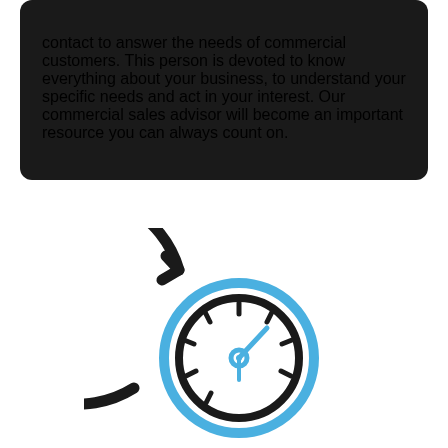contact to answer the needs of commercial customers. This person is devoted to know everything about your business, to understand your specific needs and act in your interest. Our commercial sales advisor will become an important resource you can always count on.
[Figure (illustration): A circular icon showing a speedometer/gauge with a circular arrow around it. The outer circular arrow is black, the inner speedometer circle and needle are blue, and the gauge face with tick marks is black. The needle points toward the upper right.]